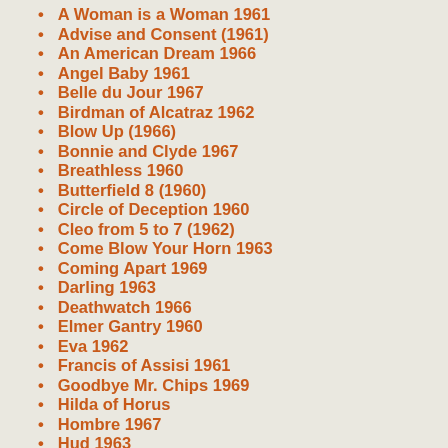A Woman is a Woman 1961
Advise and Consent (1961)
An American Dream 1966
Angel Baby 1961
Belle du Jour 1967
Birdman of Alcatraz 1962
Blow Up (1966)
Bonnie and Clyde 1967
Breathless 1960
Butterfield 8 (1960)
Circle of Deception 1960
Cleo from 5 to 7 (1962)
Come Blow Your Horn 1963
Coming Apart 1969
Darling 1963
Deathwatch 1966
Elmer Gantry 1960
Eva 1962
Francis of Assisi 1961
Goodbye Mr. Chips 1969
Hilda of Horus
Hombre 1967
Hud 1963
Hurry Sundown 1967
In the Heat of the Night (1967)